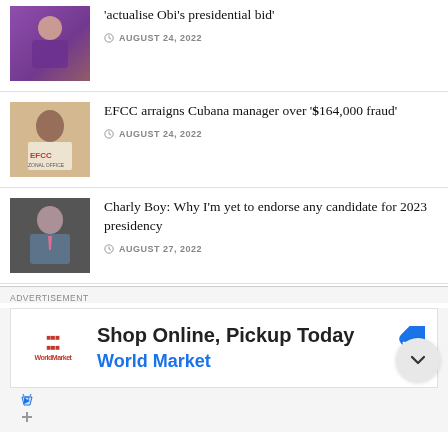'actualise Obi's presidential bid' — AUGUST 24, 2022
EFCC arraigns Cubana manager over '$164,000 fraud' — AUGUST 24, 2022
Charly Boy: Why I'm yet to endorse any candidate for 2023 presidency — AUGUST 27, 2022
ADVERTISEMENT
[Figure (infographic): Advertisement: Shop Online, Pickup Today — World Market. Shows World Market logo, navigation/direction icon in blue diamond shape, and play/close icons at bottom.]